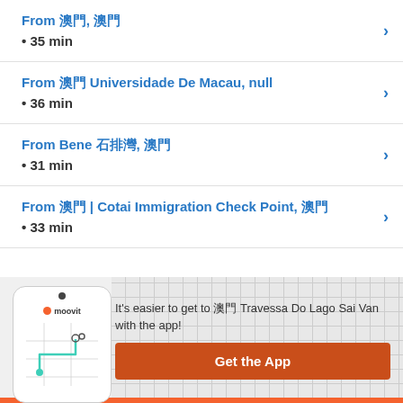From 澳門, 澳門 • 35 min
From 澳門 Universidade De Macau, null • 36 min
From Bene 石排灣, 澳門 • 31 min
From 澳門 | Cotai Immigration Check Point, 澳門 • 33 min
It's easier to get to 澳門 Travessa Do Lago Sai Van with the app!
Get the App